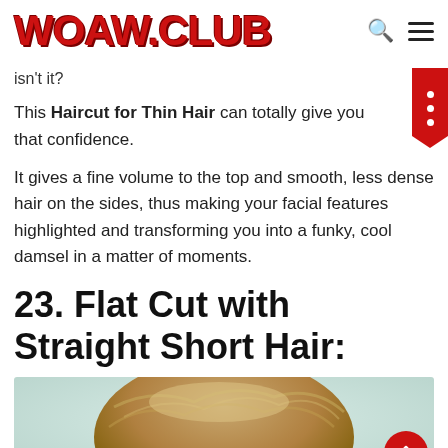WOAW.CLUB
isn't it?
This Haircut for Thin Hair can totally give you that confidence.
It gives a fine volume to the top and smooth, less dense hair on the sides, thus making your facial features highlighted and transforming you into a funky, cool damsel in a matter of moments.
23. Flat Cut with Straight Short Hair:
[Figure (photo): Photo of a person's head showing flat cut with straight short hair, light brown hair, light greenish-white background]